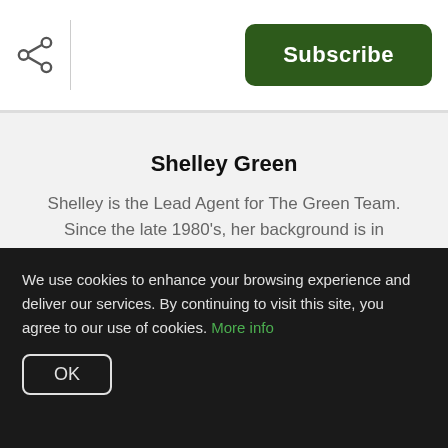[Figure (other): Share icon (network share symbol) in top left]
[Figure (other): Subscribe button — dark green rounded rectangle with white text 'Subscribe']
[Figure (photo): Circular portrait photo of Shelley Green, a woman with blonde hair, against a dark background]
Shelley Green
Shelley is the Lead Agent for The Green Team. Since the late 1980's, her background is in Marketing & Real Estate...
[Figure (other): Social media icons: Facebook, Twitter, LinkedIn, YouTube, Pinterest]
We use cookies to enhance your browsing experience and deliver our services. By continuing to visit this site, you agree to our use of cookies. More info
OK